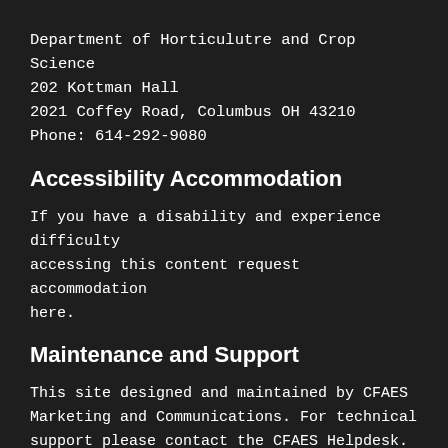Department of Horticulutre and Crop Science
202 Kottman Hall
2021 Coffey Road, Columbus OH 43210
Phone: 614-292-9080
Accessibility Accommodation
If you have a disability and experience difficulty accessing this content request accommodation here.
Maintenance and Support
This site designed and maintained by CFAES Marketing and Communications. For technical support please contact the CFAES Helpdesk.
CFAES Diversity  |  Nondiscrimination notice  |  Site